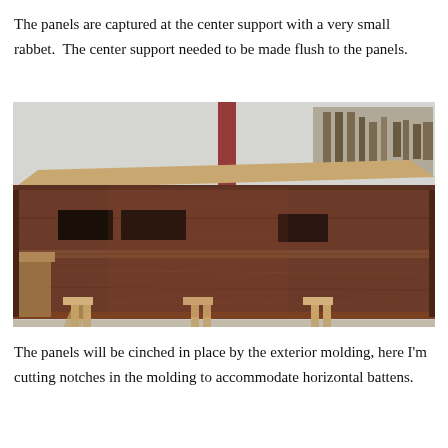The panels are captured at the center support with a very small rabbet.  The center support needed to be made flush to the panels.
[Figure (photo): A wooden cabinet or media console under construction, showing dark walnut wood panels with rectangular cutouts/openings, sitting on sawhorses in a workshop. The front face features horizontal panels with small rectangular holes, and a lighter wood top. Workshop items are visible in the background.]
The panels will be cinched in place by the exterior molding, here I'm cutting notches in the molding to accommodate horizontal battens.